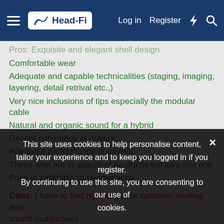Head-Fi — Log in  Register
Pros: Exquisite and elegant shell design (partially visible, faded)
Comfortable wear
Adequate and capable technicalities (staging, imaging, layering, detail retrival etc.,)
Very nice inclusions of tips especially the modular cable
Natural and organic sound for a hybrid
Decent coherency of drivers
Adequate performance of drivers
Those who are in search of neutrality will love this one
Price is justifiable to performance
Cons: I have to find right angle for optimum sealing and sound (subjective)
Might be boring for vshape or ushape consumers
Sound signature is not for everyone
INTRODUCTION:
Kinera, has been around offering custom iems for its consumers. What makes them standout is their unique and unparalleled effort on aesthetics of their products
This site uses cookies to help personalise content, tailor your experience and to keep you logged in if you register. By continuing to use this site, you are consenting to our use of cookies.